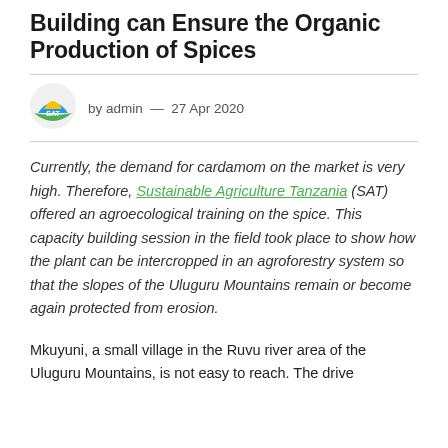Building can Ensure the Organic Production of Spices
[Figure (logo): SAT (Sustainable Agriculture Tanzania) circular logo with green, yellow and blue mountain/leaf design]
by admin — 27 Apr 2020
Currently, the demand for cardamom on the market is very high. Therefore, Sustainable Agriculture Tanzania (SAT) offered an agroecological training on the spice. This capacity building session in the field took place to show how the plant can be intercropped in an agroforestry system so that the slopes of the Uluguru Mountains remain or become again protected from erosion.
Mkuyuni, a small village in the Ruvu river area of the Uluguru Mountains, is not easy to reach. The drive